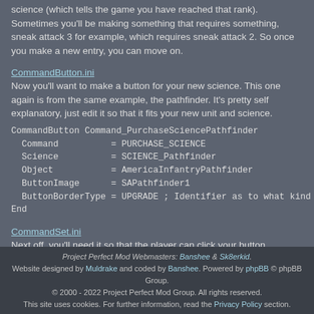science (which tells the game you have reached that rank). Sometimes you'll be making something that requires something, sneak attack 3 for example, which requires sneak attack 2. So once you make a new entry, you can move on.
CommandButton.ini
Now you'll want to make a button for your new science. This one again is from the same example, the pathfinder. It's pretty self explanatory, just edit it so that it fits your new unit and science.
CommandButton Command_PurchaseSciencePathfinder
  Command         = PURCHASE_SCIENCE
  Science         = SCIENCE_Pathfinder
  Object          = AmericaInfantryPathfinder
  ButtonImage     = SAPathfinder1
  ButtonBorderType = UPGRADE ; Identifier as to what kind of button this is
End
CommandSet.ini
Next off, you'll need it so that the player can click your button somewhere. The command sets use a different setup than normal commandsets, so double check to make sure you have yours aligned up. They have 3 rows and 5 columns, with buttons 1-15.
Project Perfect Mod Webmasters: Banshee & Sk8erkid. Website designed by Muldrake and coded by Banshee. Powered by phpBB © phpBB Group. © 2000 - 2022 Project Perfect Mod Group. All rights reserved. This site uses cookies. For further information, read the Privacy Policy section.